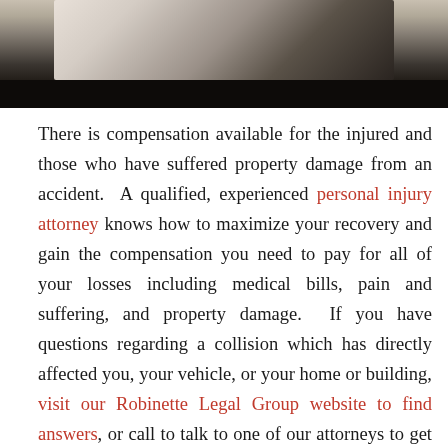[Figure (photo): Photo of people in a professional/legal setting, partially visible at top of page, fading to dark at the bottom]
There is compensation available for the injured and those who have suffered property damage from an accident. A qualified, experienced personal injury attorney knows how to maximize your recovery and gain the compensation you need to pay for all of your losses including medical bills, pain and suffering, and property damage. If you have questions regarding a collision which has directly affected you, your vehicle, or your home or building, visit our Robinette Legal Group website to find answers, or call to talk to one of our attorneys to get the help you need: 304-594-1800.